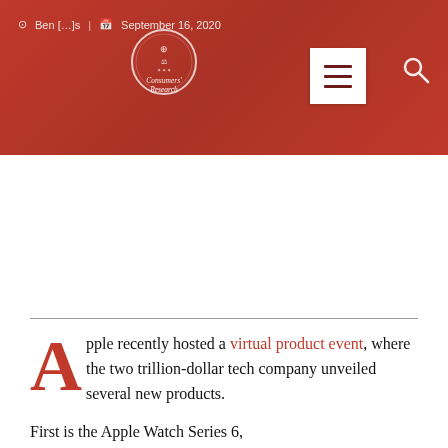Ben [Burgess] | September 16, 2020 — Consumers' Research logo header with hamburger menu and search icon
Apple recently hosted a virtual product event, where the two trillion-dollar tech company unveiled several new products.
First is the Apple Watch Series 6,